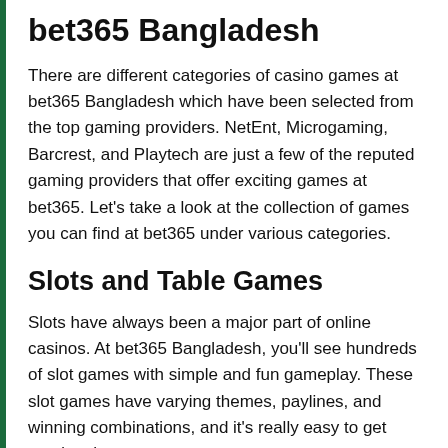bet365 Bangladesh
There are different categories of casino games at bet365 Bangladesh which have been selected from the top gaming providers. NetEnt, Microgaming, Barcrest, and Playtech are just a few of the reputed gaming providers that offer exciting games at bet365. Let's take a look at the collection of games you can find at bet365 under various categories.
Slots and Table Games
Slots have always been a major part of online casinos. At bet365 Bangladesh, you'll see hundreds of slot games with simple and fun gameplay. These slot games have varying themes, paylines, and winning combinations, and it's really easy to get used to the